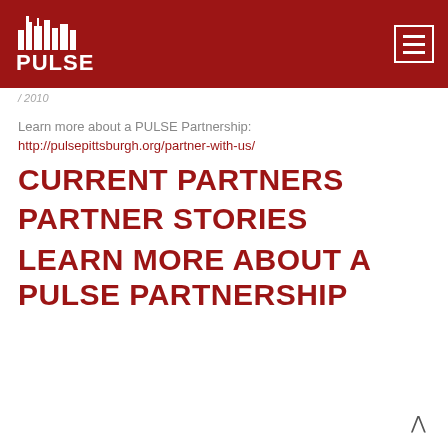[Figure (logo): PULSE Pittsburgh logo on red header background with hamburger menu icon]
/ 2010
Learn more about a PULSE Partnership:
http://pulsepittsburgh.org/partner-with-us/
CURRENT PARTNERS
PARTNER STORIES
LEARN MORE ABOUT A PULSE PARTNERSHIP